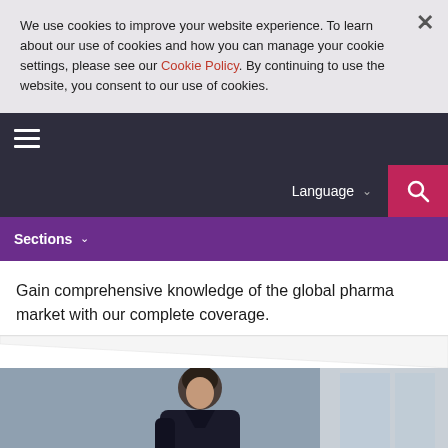We use cookies to improve your website experience. To learn about our use of cookies and how you can manage your cookie settings, please see our Cookie Policy. By continuing to use the website, you consent to our use of cookies.
Navigation bar with hamburger menu, Language selector, and Search button
Sections
Gain comprehensive knowledge of the global pharma market with our complete coverage.
[Figure (photo): Photo of a woman with dark hair pulled back, wearing dark clothing, in what appears to be a professional setting with glass walls/windows in background.]